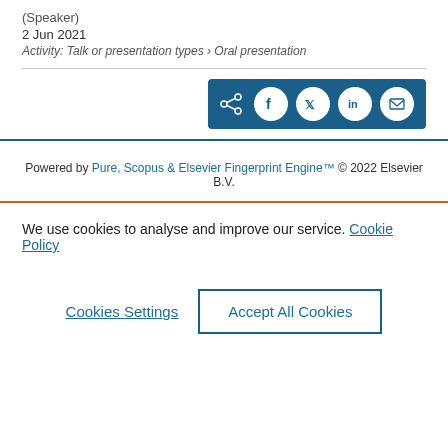(Speaker)
2 Jun 2021
Activity: Talk or presentation types › Oral presentation
[Figure (other): Social sharing button group with share, Facebook, Twitter, LinkedIn, and email icons on a dark blue background]
Powered by Pure, Scopus & Elsevier Fingerprint Engine™ © 2022 Elsevier B.V.
We use cookies to analyse and improve our service. Cookie Policy
Cookies Settings
Accept All Cookies